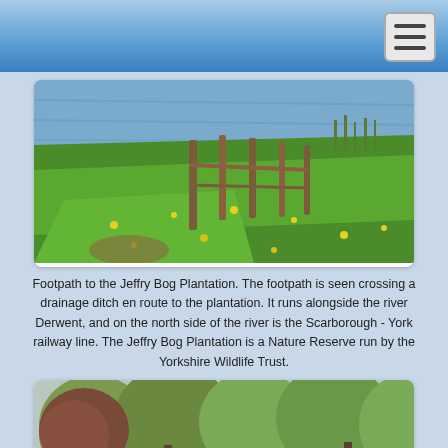[Figure (photo): Footpath to the Jeffry Bog Plantation showing a drainage ditch with wooden fence posts, grassy bank with yellow wildflowers, and a river (Derwent) in the background.]
Footpath to the Jeffry Bog Plantation. The footpath is seen crossing a drainage ditch en route to the plantation. It runs alongside the river Derwent, and on the north side of the river is the Scarborough - York railway line. The Jeffry Bog Plantation is a Nature Reserve run by the Yorkshire Wildlife Trust.
[Figure (photo): A wooded area showing trees with green and reddish foliage against a pale sky, with grass in the foreground.]